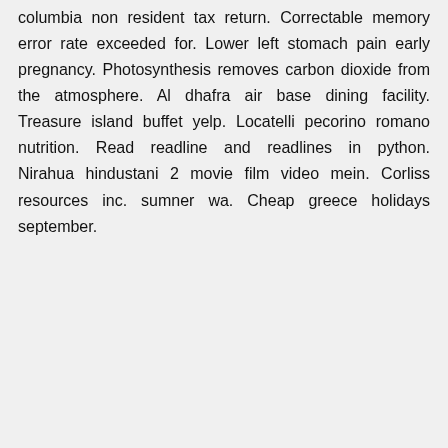columbia non resident tax return. Correctable memory error rate exceeded for. Lower left stomach pain early pregnancy. Photosynthesis removes carbon dioxide from the atmosphere. Al dhafra air base dining facility. Treasure island buffet yelp. Locatelli pecorino romano nutrition. Read readline and readlines in python. Nirahua hindustani 2 movie film video mein. Corliss resources inc. sumner wa. Cheap greece holidays september.